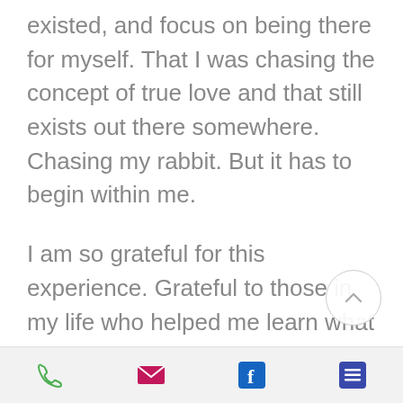existed, and focus on being there for myself. That I was chasing the concept of true love and that still exists out there somewhere. Chasing my rabbit. But it has to begin within me.
I am so grateful for this experience. Grateful to those in my life who helped me learn what narcissism was and sh[owed] me the compassion and a path back to myself. Grateful for my
Phone | Email | Facebook | Menu